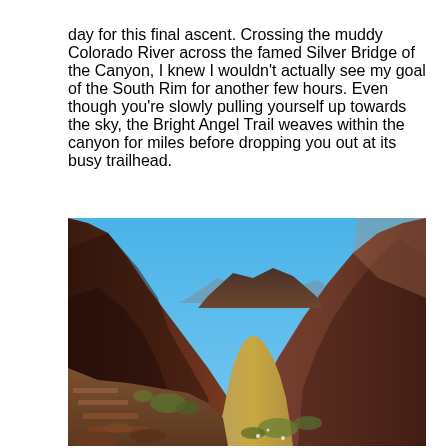day for this final ascent. Crossing the muddy Colorado River across the famed Silver Bridge of the Canyon, I knew I wouldn't actually see my goal of the South Rim for another few hours. Even though you're slowly pulling yourself up towards the sky, the Bright Angel Trail weaves within the canyon for miles before dropping you out at its busy trailhead.
[Figure (photo): A photograph taken from a rocky trail inside the Grand Canyon looking downstream along the muddy Colorado River. Steep canyon walls of reddish-brown rock rise on both sides, with desert vegetation in the foreground and a clear blue sky above.]